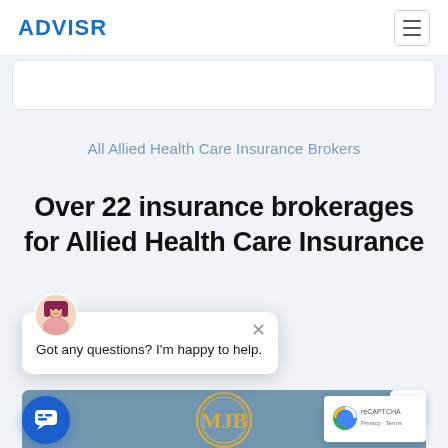ADVISR
All Allied Health Care Insurance Brokers
Over 22 insurance brokerages for Allied Health Care Insurance
Got any questions? I'm happy to help.
[Figure (logo): MJB circular logo in gold/orange on blue-grey background]